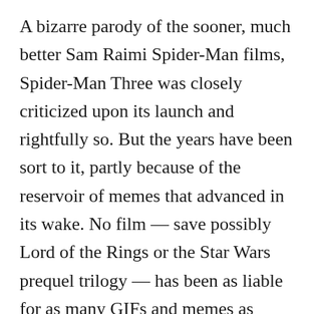A bizarre parody of the sooner, much better Sam Raimi Spider-Man films, Spider-Man Three was closely criticized upon its launch and rightfully so. But the years have been sort to it, partly because of the reservoir of memes that advanced in its wake. No film — save possibly Lord of the Rings or the Star Wars prequel trilogy — has been as liable for as many GIFs and memes as Spider-Man 3. In that respect re-watching it's a new, distinctive expertise. Upon its launch it was bloated and unusual, in 2021 it is an unbelievable quantity of enjoyable. — Mark SerrelsThe place to observe it: Spider-Man 3 accessible to hire or purchase on Amazon Prime Video, and is accessible to stream on Starz, which